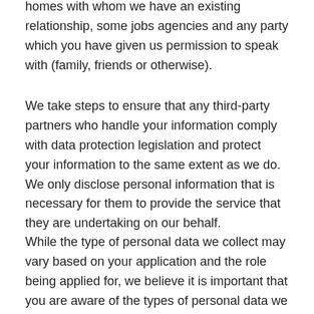homes with whom we have an existing relationship, some jobs agencies and any party which you have given us permission to speak with (family, friends or otherwise).
We take steps to ensure that any third-party partners who handle your information comply with data protection legislation and protect your information to the same extent as we do. We only disclose personal information that is necessary for them to provide the service that they are undertaking on our behalf.
While the type of personal data we collect may vary based on your application and the role being applied for, we believe it is important that you are aware of the types of personal data we may gather and use.